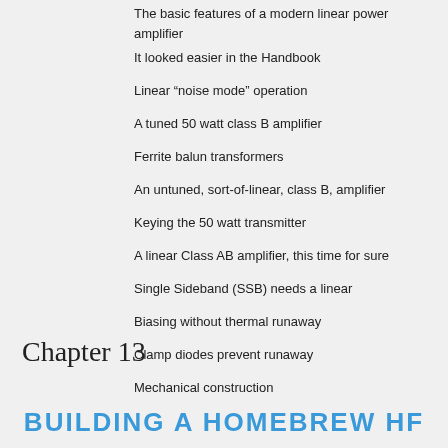The basic features of a modern linear power amplifier
It looked easier in the Handbook
Linear “noise mode” operation
A tuned 50 watt class B amplifier
Ferrite balun transformers
An untuned, sort-of-linear, class B, amplifier
Keying the 50 watt transmitter
A linear Class AB amplifier, this time for sure
Single Sideband (SSB) needs a linear
Biasing without thermal runaway
Clamp diodes prevent runaway
Mechanical construction
Chapter 13
BUILDING A HOMEBREW HF